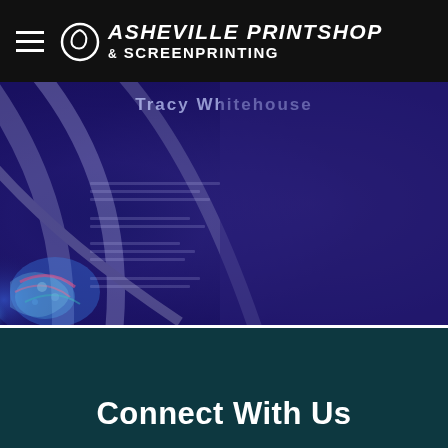Asheville Printshop & Screenprinting
[Figure (illustration): Dark blue/purple abstract digital art background with glowing abstract curves and colorful swirling patterns on the left side, fading to deep indigo on the right. Partially visible text 'Tracy Whitehouse' appears at the top center in a semi-transparent overlay.]
Connect With Us